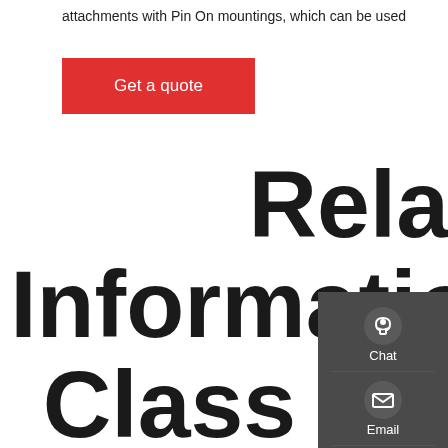attachments with Pin On mountings, which can be used
Get a quote
Related Information About Class Not Found Using The Boot Class Loader No Stack
[Figure (infographic): Side panel with dark gray background showing Chat (headset icon), Email (envelope icon), and Contact (speech bubble icon) with red dividers between items]